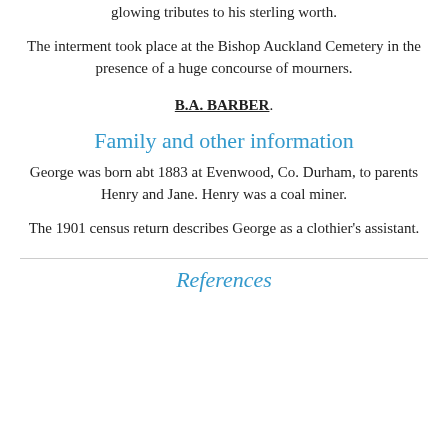glowing tributes to his sterling worth.
The interment took place at the Bishop Auckland Cemetery in the presence of a huge concourse of mourners.
B.A. BARBER.
Family and other information
George was born abt 1883 at Evenwood, Co. Durham, to parents Henry and Jane. Henry was a coal miner.
The 1901 census return describes George as a clothier's assistant.
References